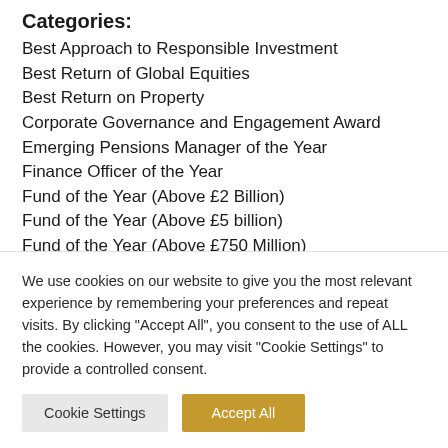Categories:
Best Approach to Responsible Investment
Best Return of Global Equities
Best Return on Property
Corporate Governance and Engagement Award
Emerging Pensions Manager of the Year
Finance Officer of the Year
Fund of the Year (Above £2 Billion)
Fund of the Year (Above £5 billion)
Fund of the Year (Above £750 Million)
Fund of the Year (Above £750 Mill...
We use cookies on our website to give you the most relevant experience by remembering your preferences and repeat visits. By clicking "Accept All", you consent to the use of ALL the cookies. However, you may visit "Cookie Settings" to provide a controlled consent.
Cookie Settings | Accept All